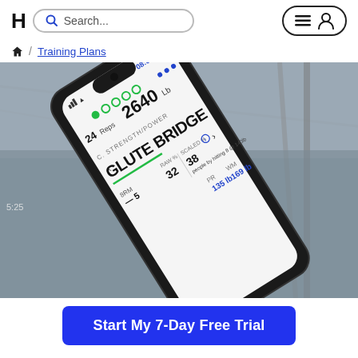[Figure (screenshot): Website header with HT logo, search bar, and menu/user icon button]
🏠 / Training Plans
[Figure (photo): A smartphone displaying a fitness/workout tracking app showing 'Glute Bridge' exercise with metrics: 24 Reps, 2640 Lb, RAW% 32, SCALED% 38, PR 135 lb, WM 169 lb. Phone is held at an angle against a dark gym background.]
Start My 7-Day Free Trial